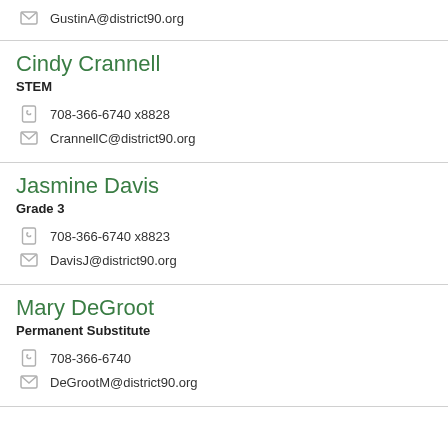GustinA@district90.org
Cindy Crannell
STEM
708-366-6740 x8828
CrannellC@district90.org
Jasmine Davis
Grade 3
708-366-6740 x8823
DavisJ@district90.org
Mary DeGroot
Permanent Substitute
708-366-6740
DeGrootM@district90.org